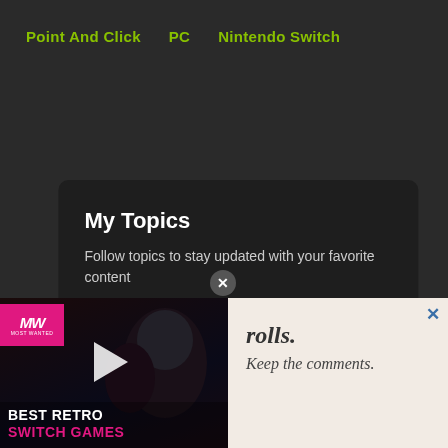Point And Click  PC  Nintendo Switch
My Topics
Follow topics to stay updated with your favorite content
+ Joseph Allen
+ Still There
+ GhostShark Games
+ Point And Click
+ ndo Switch
[Figure (screenshot): Video promotion thumbnail showing 'BEST RETRO SWITCH GAMES' with MW logo and play button over a dark cinematic game scene]
[Figure (screenshot): Advertisement panel with italic text 'rolls. Keep the comments.' on a light beige background with a close button (X)]